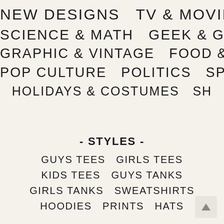NEW DESIGNS   TV & MOVIES
SCIENCE & MATH   GEEK & GA
GRAPHIC & VINTAGE   FOOD & COFF
POP CULTURE   POLITICS   SPO
HOLIDAYS & COSTUMES   SH
- STYLES -
GUYS TEES   GIRLS TEES
KIDS TEES   GUYS TANKS
GIRLS TANKS   SWEATSHIRTS
HOODIES   PRINTS   HATS